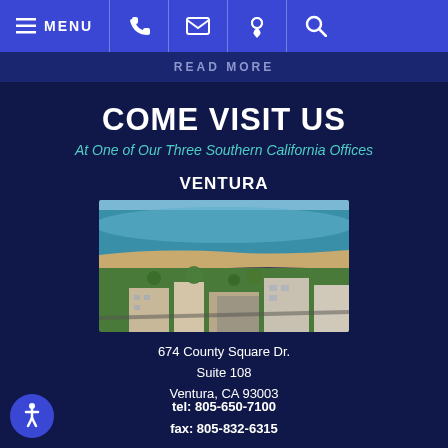MENU [phone] [email] [location] [search]
READ MORE
COME VISIT US
At One of Our Three Southern California Offices
VENTURA
[Figure (photo): Aerial view of Ventura, California showing beachfront, ocean, and downtown buildings]
674 County Square Dr.
Suite 108
Ventura, CA 93003
tel: 805-650-7100
fax: 805-832-6315